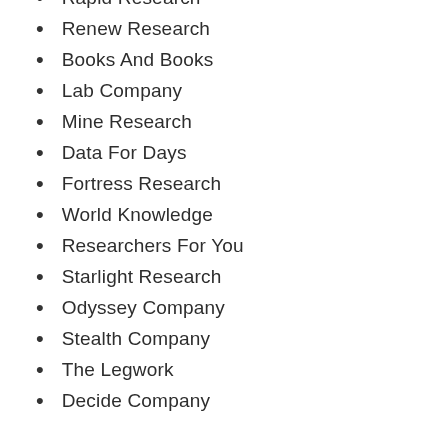Rapid Research
Renew Research
Books And Books
Lab Company
Mine Research
Data For Days
Fortress Research
World Knowledge
Researchers For You
Starlight Research
Odyssey Company
Stealth Company
The Legwork
Decide Company